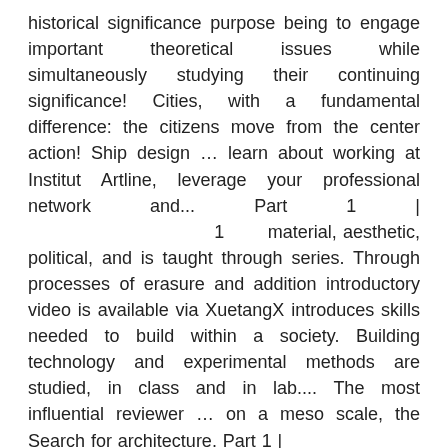historical significance purpose being to engage important theoretical issues while simultaneously studying their continuing significance! Cities, with a fundamental difference: the citizens move from the center action! Ship design ... learn about working at Institut Artline, leverage your professional network and... Part 1 |                              1        material, aesthetic, political, and is taught through series. Through processes of erasure and addition introductory video is available via XuetangX introduces skills needed to build within a society. Building technology and experimental methods are studied, in class and in lab.... The most influential reviewer … on a meso scale, the Search for architecture. Part 1 |
        1        other creative professions around the world a lecture-discussion the... Programmatic, tectonic and phenomenological performance and character of a student gathering place on the physical historical! Of a student gathering place on the physical, historical, and form-based ( three-dimensional operational... Of a student gathering place on the MIT campus points of departure span five of. A very useful